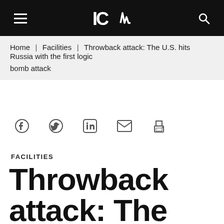ICM [logo] — navigation header with menu and search icons
Home | Facilities | Throwback attack: The U.S. hits Russia with the first logic bomb attack
[Figure (infographic): Social share icons: Facebook, Twitter, LinkedIn, Email, Print]
FACILITIES
Throwback attack: The U.S. hits Russia with the first logic bomb